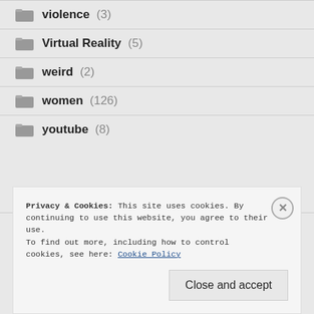violence (3)
Virtual Reality (5)
weird (2)
women (126)
youtube (8)
Privacy & Cookies: This site uses cookies. By continuing to use this website, you agree to their use.
To find out more, including how to control cookies, see here: Cookie Policy
Close and accept